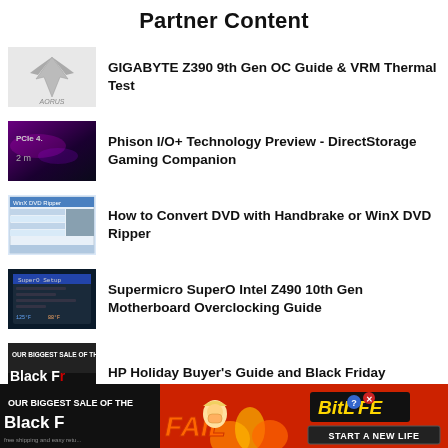Partner Content
GIGABYTE Z390 9th Gen OC Guide & VRM Thermal Test
Phison I/O+ Technology Preview - DirectStorage Gaming Companion
How to Convert DVD with Handbrake or WinX DVD Ripper
Supermicro SuperO Intel Z490 10th Gen Motherboard Overclocking Guide
HP Holiday Buyer's Guide and Black Friday
[Figure (illustration): BitLife advertisement banner with FAIL character, flames, and START A NEW LIFE tagline]